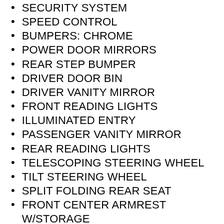SECURITY SYSTEM
SPEED CONTROL
BUMPERS: CHROME
POWER DOOR MIRRORS
REAR STEP BUMPER
DRIVER DOOR BIN
DRIVER VANITY MIRROR
FRONT READING LIGHTS
ILLUMINATED ENTRY
PASSENGER VANITY MIRROR
REAR READING LIGHTS
TELESCOPING STEERING WHEEL
TILT STEERING WHEEL
SPLIT FOLDING REAR SEAT
FRONT CENTER ARMREST W/STORAGE
PASSENGER DOOR BIN
ALLOY WHEELS
WHEELS: 17" SILVER PAINTED ALUMINUM
VARIABLY INTERMITTENT WIPERS